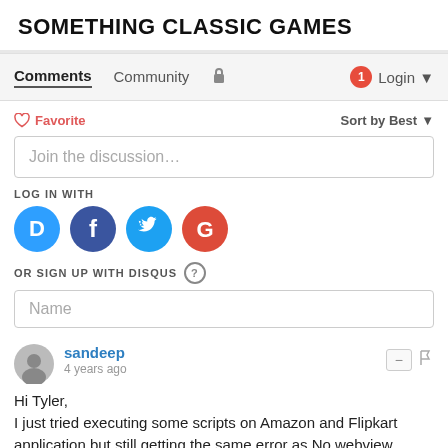SOMETHING CLASSIC GAMES
Comments | Community | Login
♡ Favorite   Sort by Best
Join the discussion…
LOG IN WITH
[Figure (infographic): Social login icons: Disqus (blue circle with D), Facebook (dark blue circle with f), Twitter (light blue circle with bird), Google (red circle with G)]
OR SIGN UP WITH DISQUS ?
Name
sandeep
4 years ago
Hi Tyler,
I just tried executing some scripts on Amazon and Flipkart application but still getting the same error as No webview